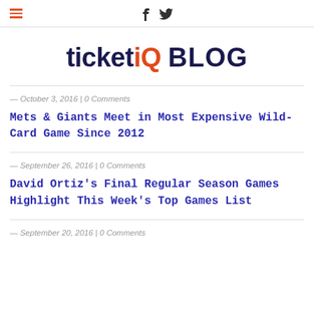ticketIQ BLOG
ticketIQ BLOG
— October 3, 2016 | 0 Comments
Mets & Giants Meet in Most Expensive Wild-Card Game Since 2012
— September 26, 2016 | 0 Comments
David Ortiz's Final Regular Season Games Highlight This Week's Top Games List
— September 20, 2016 | 0 Comments